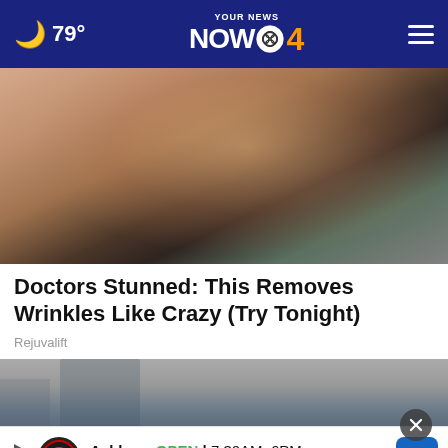79° YOUR NEWS NOW CBS 4
[Figure (photo): Close-up photo of a woman applying something to her face/chin area with her fingers, dark hair, wearing glasses]
Doctors Stunned: This Removes Wrinkles Like Crazy (Try Tonight)
Rejuvalift
[Figure (photo): Street scene with people walking, featuring an advertisement overlay. Ad reads: Ashburn OPEN 7:30AM-6PM 43781 Parkhurst Plaza, Ashburn with Tires Plus Auto logo and navigation arrow icon]